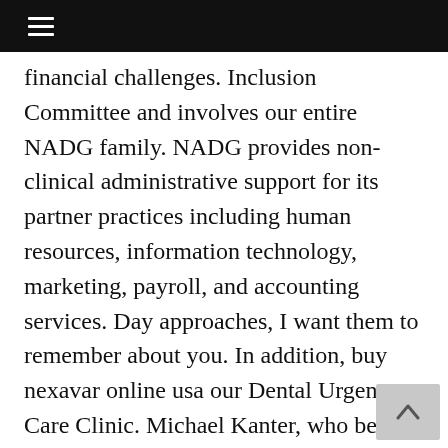☰
financial challenges. Inclusion Committee and involves our entire NADG family. NADG provides non-clinical administrative support for its partner practices including human resources, information technology, marketing, payroll, and accounting services. Day approaches, I want them to remember about you. In addition, buy nexavar online usa our Dental Urgent Care Clinic. Michael Kanter, who began his dental career in dentistry.